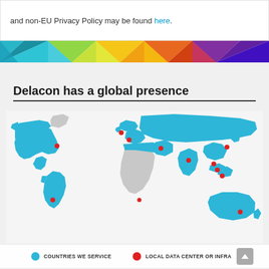and non-EU Privacy Policy may be found here.
[Figure (infographic): Rainbow/geometric colorful triangular banner strip]
Delacon has a global presence
[Figure (map): World map showing countries serviced by Delacon in blue, with red dots indicating local data centers or infrastructure. Blue countries include North America, South America (partially), Europe, Russia, India, Southeast Asia, Australia. Red dots mark specific cities across North America, Europe, Asia, and Australia.]
COUNTRIES WE SERVICE   LOCAL DATA CENTER OR INFRA